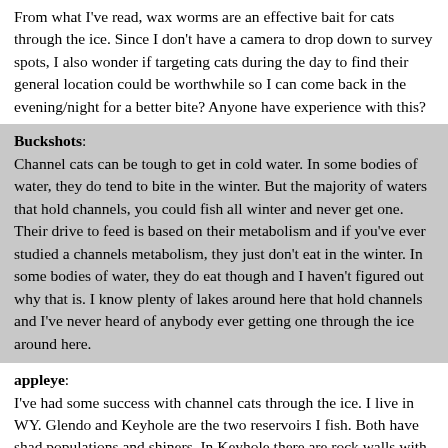From what I've read, wax worms are an effective bait for cats through the ice. Since I don't have a camera to drop down to survey spots, I also wonder if targeting cats during the day to find their general location could be worthwhile so I can come back in the evening/night for a better bite? Anyone have experience with this?
Buckshots: Channel cats can be tough to get in cold water. In some bodies of water, they do tend to bite in the winter. But the majority of waters that hold channels, you could fish all winter and never get one. Their drive to feed is based on their metabolism and if you've ever studied a channels metabolism, they just don't eat in the winter. In some bodies of water, they do eat though and I haven't figured out why that is. I know plenty of lakes around here that hold channels and I've never heard of anybody ever getting one through the ice around here.
appleye: I've had some success with channel cats through the ice. I live in WY. Glendo and Keyhole are the two reservoirs I fish. Both have shad populations and shiners. In Keyhole there are rock walls with holes, like a cave, that catfish tend to hang around. I have several of these spots marked. I also target the river channel area. In Glendo river channel areas with boulders being good areas.